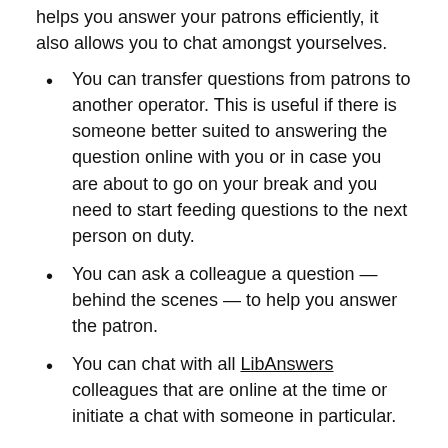helps you answer your patrons efficiently, it also allows you to chat amongst yourselves.
You can transfer questions from patrons to another operator. This is useful if there is someone better suited to answering the question online with you or in case you are about to go on your break and you need to start feeding questions to the next person on duty.
You can ask a colleague a question — behind the scenes — to help you answer the patron.
You can chat with all LibAnswers colleagues that are online at the time or initiate a chat with someone in particular.
A mixed bag is good. People will chat with each other about projects, ask for feedback, share an experience. But